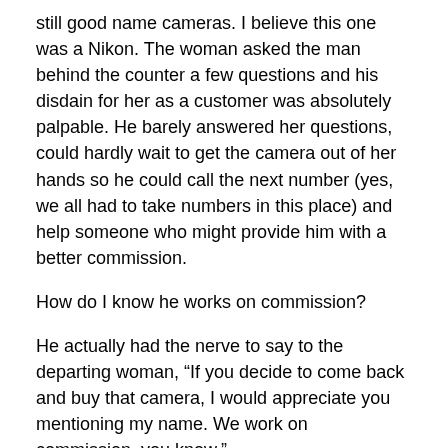still good name cameras. I believe this one was a Nikon. The woman asked the man behind the counter a few questions and his disdain for her as a customer was absolutely palpable. He barely answered her questions, could hardly wait to get the camera out of her hands so he could call the next number (yes, we all had to take numbers in this place) and help someone who might provide him with a better commission.
How do I know he works on commission?
He actually had the nerve to say to the departing woman, “If you decide to come back and buy that camera, I would appreciate you mentioning my name. We work on commission, you know.”
My jaw dropped.